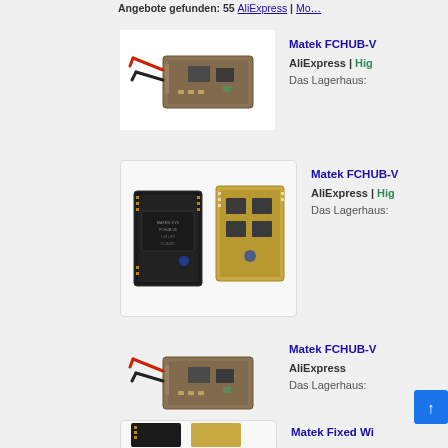Angebote gefunden: 55 ( AliExpress | Mo… )
[Figure (photo): Matek FCHUB circuit board with red and black wires attached]
Matek FCHUB-V
AliExpress | Hig
Das Lagerhaus:
[Figure (photo): Two Matek FCHUB-V circuit boards side by side, one black and one gold]
Matek FCHUB-V
AliExpress | Hig
Das Lagerhaus:
[Figure (photo): Matek FCHUB circuit board with red and black wires attached]
Matek FCHUB-V
AliExpress |
Das Lagerhaus:
[Figure (photo): Matek Fixed Wi… circuit boards, partially visible]
Matek Fixed Wi